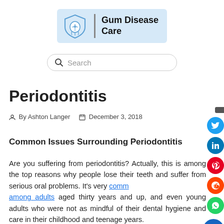[Figure (logo): Gum Disease Care logo with tooth icon on light blue background]
[Figure (screenshot): Search bar with magnifying glass icon and placeholder text 'Search']
Periodontitis
By Ashton Langer  December 3, 2018
Common Issues Surrounding Periodontitis
Are you suffering from periodontitis? Actually, this is among the top reasons why people lose their teeth and suffer from serious oral problems. It's very common among adults aged thirty years and up, and even young adults who were not as mindful of their dental hygiene and care in their childhood and teenage years.